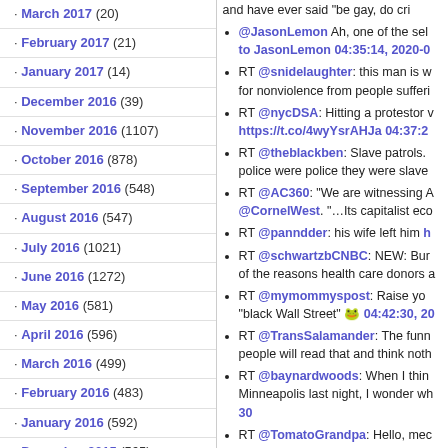· March 2017 (20)
· February 2017 (21)
· January 2017 (14)
· December 2016 (39)
· November 2016 (1107)
· October 2016 (878)
· September 2016 (548)
· August 2016 (547)
· July 2016 (1021)
· June 2016 (1272)
· May 2016 (581)
· April 2016 (596)
· March 2016 (499)
· February 2016 (483)
· January 2016 (592)
· December 2015 (565)
· November 2015 (126)
· October 2015 (28)
and have ever said "be gay, do cri
@JasonLemon Ah, one of the sel... to JasonLemon 04:35:14, 2020-0
RT @snidelaughter: this man is w... for nonviolence from people sufferi
RT @nycDSA: Hitting a protestor v... https://t.co/4wyYsrAHJa 04:37:2
RT @theblackben: Slave patrols. ... police were police they were slave
RT @AC360: "We are witnessing A... @CornelWest. "...Its capitalist eco
RT @panndder: his wife left him h
RT @schwartzbCNBC: NEW: Bur... of the reasons health care donors a
RT @mymommyspost: Raise yo... "black Wall Street" 04:42:30, 20
RT @TransSalamander: The funn... people will read that and think noth
RT @baynardwoods: When I thin... Minneapolis last night, I wonder wh... 30
RT @TomatoGrandpa: Hello, mec... people saying this today. This is